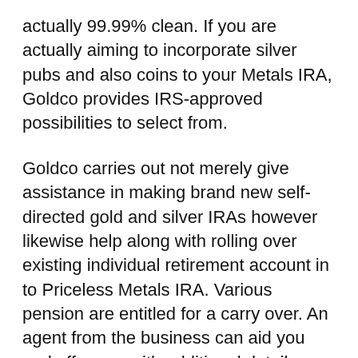actually 99.99% clean. If you are actually aiming to incorporate silver pubs and also coins to your Metals IRA, Goldco provides IRS-approved possibilities to select from.
Goldco carries out not merely give assistance in making brand new self-directed gold and silver IRAs however likewise help along with rolling over existing individual retirement account in to Priceless Metals IRA. Various pension are entitled for a carry over. An agent from the business can aid you and offer you with additional details concerning the method.
Goldco's Gold and Silver IRAs have the same tax benefits contrasted to conventional Individual retirement accounts. If you wish to